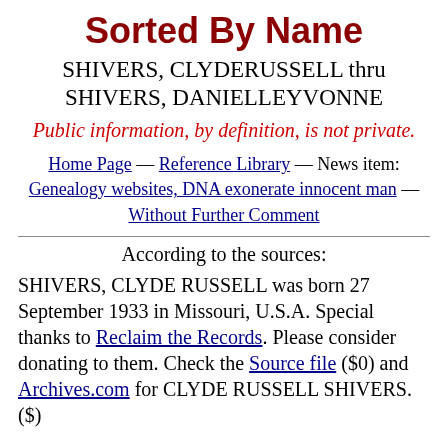Sorted By Name
SHIVERS, CLYDERUSSELL thru SHIVERS, DANIELLEYVONNE
Public information, by definition, is not private.
Home Page — Reference Library — News item: Genealogy websites, DNA exonerate innocent man — Without Further Comment
According to the sources:
SHIVERS, CLYDE RUSSELL was born 27 September 1933 in Missouri, U.S.A. Special thanks to Reclaim the Records. Please consider donating to them. Check the Source file ($0) and Archives.com for CLYDE RUSSELL SHIVERS. ($)